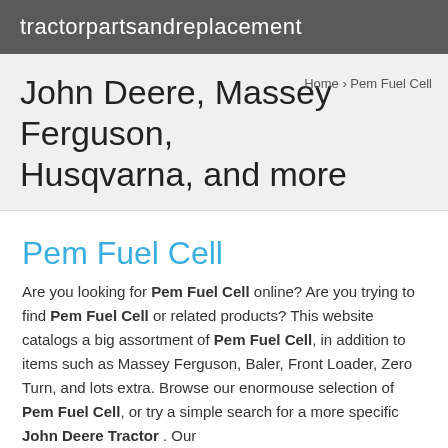tractorpartsandreplacement
John Deere, Massey Ferguson, Husqvarna, and more
Home › Pem Fuel Cell
Pem Fuel Cell
Are you looking for Pem Fuel Cell online? Are you trying to find Pem Fuel Cell or related products? This website catalogs a big assortment of Pem Fuel Cell, in addition to items such as Massey Ferguson, Baler, Front Loader, Zero Turn, and lots extra. Browse our enormouse selection of Pem Fuel Cell, or try a simple search for a more specific John Deere Tractor . Our